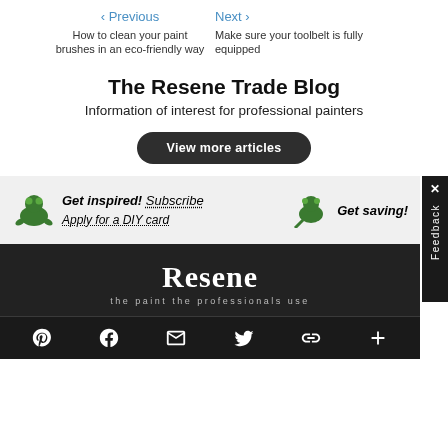‹ Previous   Next ›
How to clean your paint brushes in an eco-friendly way   Make sure your toolbelt is fully equipped
The Resene Trade Blog
Information of interest for professional painters
View more articles
[Figure (infographic): Banner strip with Resene frog mascot icons, text: Get inspired! Subscribe / Apply for a DIY card / Get saving!]
[Figure (logo): Resene logo with tagline 'the paint the professionals use' on dark background]
Social icons: Pinterest, Facebook, Email, Twitter, Chain/link, Plus